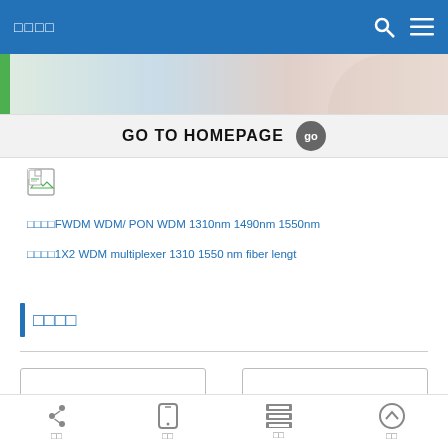□□□□
[Figure (screenshot): Partial banner image with person in background]
GO TO HOMEPAGE  go
[Figure (photo): Broken image icon]
□□□□FWDM WDM/ PON WDM 1310nm 1490nm 1550nm
□□□□1X2 WDM multiplexer 1310 1550 nm fiber lengt
□□□□
□□  □□  □□  □□